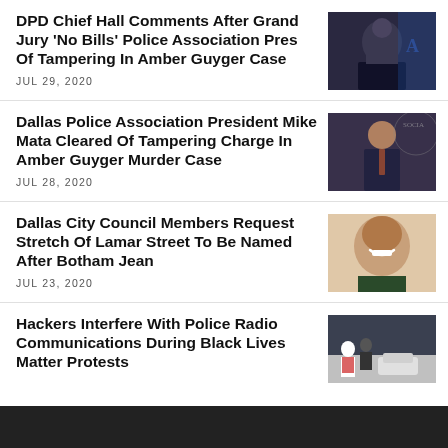DPD Chief Hall Comments After Grand Jury 'No Bills' Police Association Pres Of Tampering In Amber Guyger Case
JUL 29, 2020
[Figure (photo): Photo of DPD Chief Hall speaking at podium]
Dallas Police Association President Mike Mata Cleared Of Tampering Charge In Amber Guyger Murder Case
JUL 28, 2020
[Figure (photo): Photo of Mike Mata speaking]
Dallas City Council Members Request Stretch Of Lamar Street To Be Named After Botham Jean
JUL 23, 2020
[Figure (photo): Photo of Botham Jean smiling]
Hackers Interfere With Police Radio Communications During Black Lives Matter Protests
[Figure (photo): Photo of Black Lives Matter protest scene]